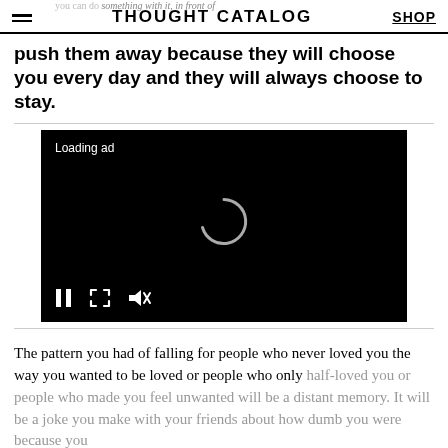THOUGHT CATALOG | SHOP
push them away because they will choose you every day and they will always choose to stay.
[Figure (screenshot): Video player with black background showing 'Loading ad' text, a spinning loading indicator, and playback controls (pause, fullscreen, mute) at the bottom.]
The pattern you had of falling for people who never loved you the way you wanted to be loved or people who only half-loved you or people who made you feel unwanted will be a distant memory. It will be a joke you make with your friends about how dumb you were because you